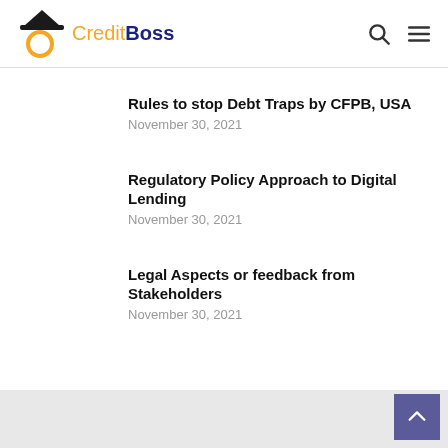CreditBoss
Rules to stop Debt Traps by CFPB, USA
November 30, 2021
Regulatory Policy Approach to Digital Lending
November 30, 2021
Legal Aspects or feedback from Stakeholders
November 30, 2021